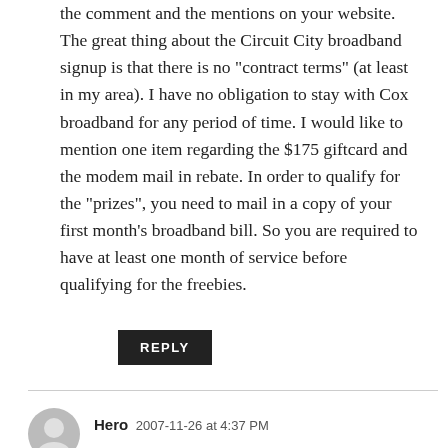the comment and the mentions on your website. The great thing about the Circuit City broadband signup is that there is no “contract terms” (at least in my area). I have no obligation to stay with Cox broadband for any period of time. I would like to mention one item regarding the $175 giftcard and the modem mail in rebate. In order to qualify for the “prizes”, you need to mail in a copy of your first month’s broadband bill. So you are required to have at least one month of service before qualifying for the freebies.
REPLY
Hero  2007-11-26 at 4:37 PM